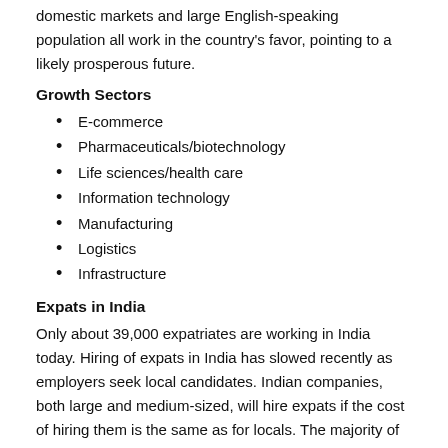domestic markets and large English-speaking population all work in the country's favor, pointing to a likely prosperous future.
Growth Sectors
E-commerce
Pharmaceuticals/biotechnology
Life sciences/health care
Information technology
Manufacturing
Logistics
Infrastructure
Expats in India
Only about 39,000 expatriates are working in India today. Hiring of expats in India has slowed recently as employers seek local candidates. Indian companies, both large and medium-sized, will hire expats if the cost of hiring them is the same as for locals. The majority of expat hiring is at senior levels. Typically, expats are sent to India by multinational companies. For expatriates already in India, finding work can be difficult, and salaries are far below those in the West.